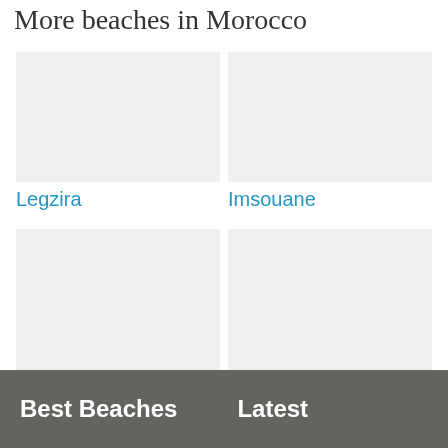More beaches in Morocco
Legzira
Imsouane
Dalia Beach
Oued Laou
Best Beaches   Latest